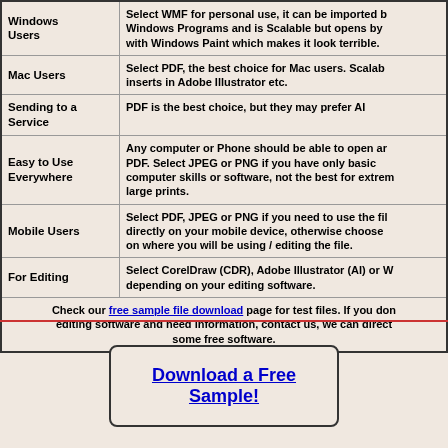| Category | Description |
| --- | --- |
| Windows Users | Select WMF for personal use, it can be imported by most Windows Programs and is Scalable but opens by default with Windows Paint which makes it look terrible. |
| Mac Users | Select PDF, the best choice for Mac users. Scalable and inserts in Adobe Illustrator etc. |
| Sending to a Service | PDF is the best choice, but they may prefer AI |
| Easy to Use Everywhere | Any computer or Phone should be able to open and read a PDF. Select JPEG or PNG if you have only basic computer skills or software, not the best for extremely large prints. |
| Mobile Users | Select PDF, JPEG or PNG if you need to use the file directly on your mobile device, otherwise choose based on where you will be using / editing the file. |
| For Editing | Select CorelDraw (CDR), Adobe Illustrator (AI) or WMF depending on your editing software. |
| (footer) | Check our free sample file download page for test files. If you don't have editing software and need information, contact us, we can direct you to some free software. |
Download a Free Sample!